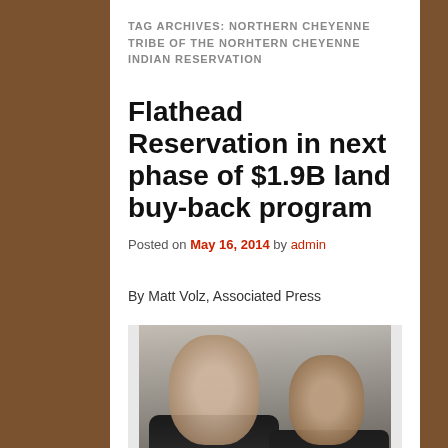TAG ARCHIVES: NORTHERN CHEYENNE TRIBE OF THE NORHTERN CHEYENNE INDIAN RESERVATION
Flathead Reservation in next phase of $1.9B land buy-back program
Posted on May 16, 2014 by admin
By Matt Volz, Associated Press
[Figure (photo): Photo of two people, a man and a woman, in what appears to be an official or formal setting. The image is slightly blurred in the background.]